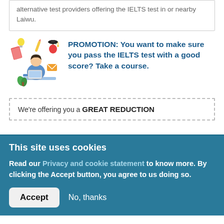alternative test providers offering the IELTS test in or nearby Laiwu.
[Figure (illustration): Illustration of a person sitting at a desk studying, surrounded by floating educational icons (books, pencil, apple, lightbulb, etc.)]
PROMOTION: You want to make sure you pass the IELTS test with a good score? Take a course.
We're offering you a GREAT REDUCTION
This site uses cookies
Read our Privacy and cookie statement to know more. By clicking the Accept button, you agree to us doing so.
Accept  No, thanks